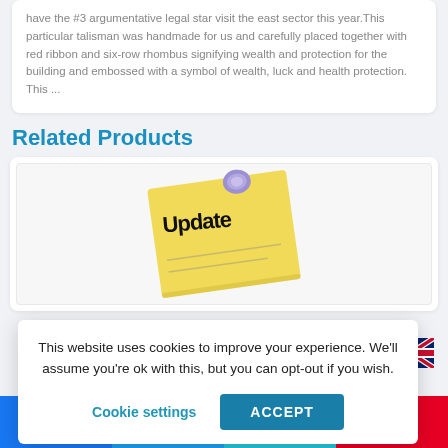have the #3 argumentative legal star visit the east sector this year.This particular talisman was handmade for us and carefully placed together with red ribbon and six-row rhombus signifying wealth and protection for the building and embossed with a symbol of wealth, luck and health protection. This ...
Related Products
[Figure (photo): A yellow sticky note with 'Update' written in black marker, pinned with a purple thumbtack on a white background.]
This website uses cookies to improve your experience. We'll assume you're ok with this, but you can opt-out if you wish.
Cookie settings | ACCEPT
[Figure (illustration): UK / British flag icon]
Facebook share | Twitter share | Email share | Pinterest 2